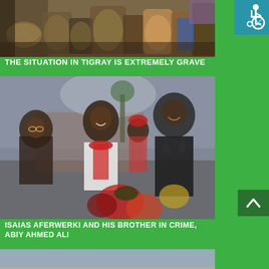[Figure (photo): Photo of various baskets, containers and market goods arranged together]
[Figure (illustration): Accessibility icon - white wheelchair symbol on blue background]
THE SITUATION IN TIGRAY IS EXTREMELY GRAVE
[Figure (photo): Photo of Isaias Aferwerki and Abiy Ahmed Ali embracing and smiling, with people in red scarves/accessories around them]
ISAIAS AFERWERKI AND HIS BROTHER IN CRIME, ABIY AHMED ALI
[Figure (photo): Photo of people, including children, looking out of bus windows]